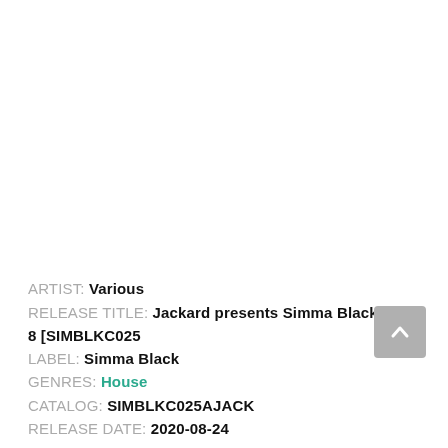ARTIST: Various
RELEASE TITLE: Jackard presents Simma Black, Vol. 8 [SIMBLKC025
LABEL: Simma Black
GENRES: House
CATALOG: SIMBLKC025AJACK
RELEASE DATE: 2020-08-24